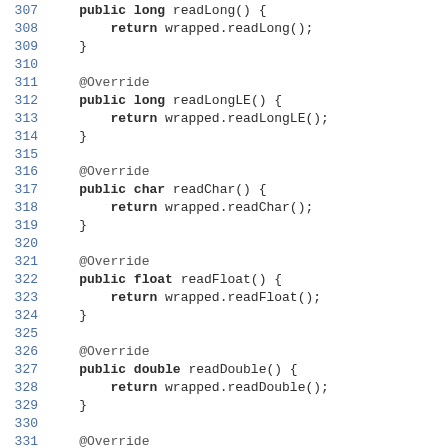307    public long readLong() {
308        return wrapped.readLong();
309    }
310
311    @Override
312    public long readLongLE() {
313        return wrapped.readLongLE();
314    }
315
316    @Override
317    public char readChar() {
318        return wrapped.readChar();
319    }
320
321    @Override
322    public float readFloat() {
323        return wrapped.readFloat();
324    }
325
326    @Override
327    public double readDouble() {
328        return wrapped.readDouble();
329    }
330
331    @Override
332    public ByteBuf readBytes(int length) {
333        return wrapped.readBytes(length);
334    }